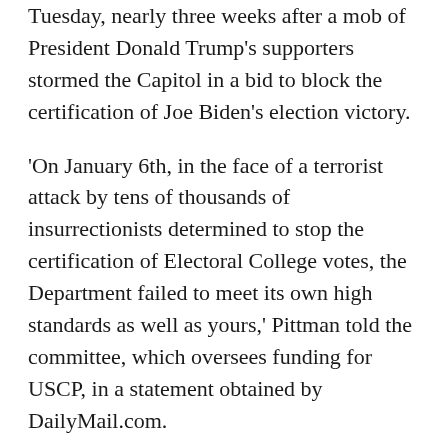Tuesday, nearly three weeks after a mob of President Donald Trump's supporters stormed the Capitol in a bid to block the certification of Joe Biden's election victory.
'On January 6th, in the face of a terrorist attack by tens of thousands of insurrectionists determined to stop the certification of Electoral College votes, the Department failed to meet its own high standards as well as yours,' Pittman told the committee, which oversees funding for USCP, in a statement obtained by DailyMail.com.
'Although the Department fulfilled its mission of